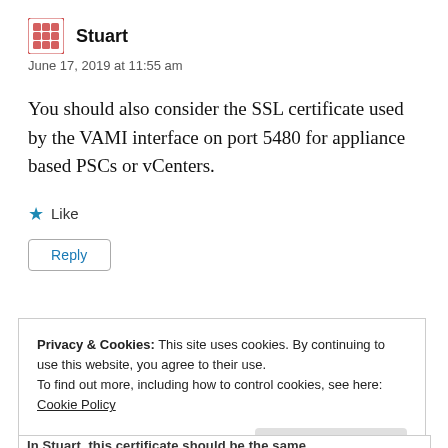Stuart
June 17, 2019 at 11:55 am
You should also consider the SSL certificate used by the VAMI interface on port 5480 for appliance based PSCs or vCenters.
★ Like
Reply
Privacy & Cookies: This site uses cookies. By continuing to use this website, you agree to their use.
To find out more, including how to control cookies, see here:
Cookie Policy
Close and accept
In Stuart, this certificate should be the same